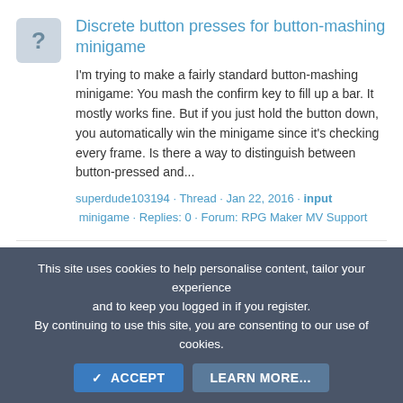Discrete button presses for button-mashing minigame
I'm trying to make a fairly standard button-mashing minigame: You mash the confirm key to fill up a bar. It mostly works fine. But if you just hold the button down, you automatically win the minigame since it's checking every frame. Is there a way to distinguish between button-pressed and...
superdude103194 · Thread · Jan 22, 2016 · input minigame · Replies: 0 · Forum: RPG Maker MV Support
Disable 'Page' button in Input Name Processing
I would like to limit the Input Name Processing to just the first page of standard font characters. In fact, the font I'm using has none of the characters seen on the 2nd
This site uses cookies to help personalise content, tailor your experience and to keep you logged in if you register. By continuing to use this site, you are consenting to our use of cookies.